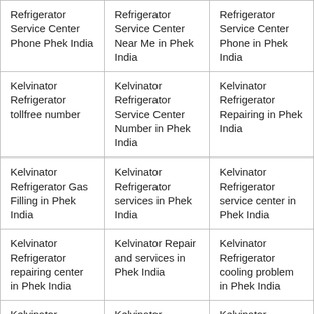| Refrigerator Service Center Phone Phek India | Refrigerator Service Center Near Me in Phek India | Refrigerator Service Center Phone in Phek India |
| Kelvinator Refrigerator tollfree number | Kelvinator Refrigerator Service Center Number in Phek India | Kelvinator Refrigerator Repairing in Phek India |
| Kelvinator Refrigerator Gas Filling in Phek India | Kelvinator Refrigerator services in Phek India | Kelvinator Refrigerator service center in Phek India |
| Kelvinator Refrigerator repairing center in Phek India | Kelvinator Repair and services in Phek India | Kelvinator Refrigerator cooling problem in Phek India |
| Kelvinator | Kelvinator | Kelvinator |